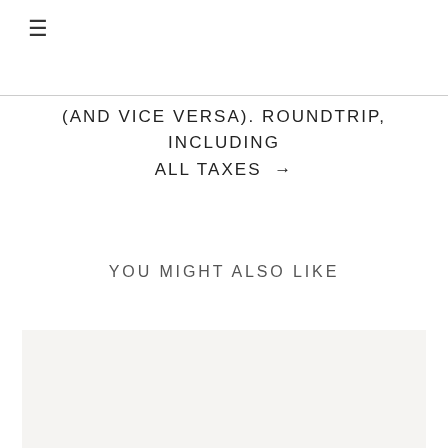≡
(AND VICE VERSA). ROUNDTRIP, INCLUDING ALL TAXES →
YOU MIGHT ALSO LIKE
[Figure (photo): Image placeholder area (light gray background), content not visible in this crop]